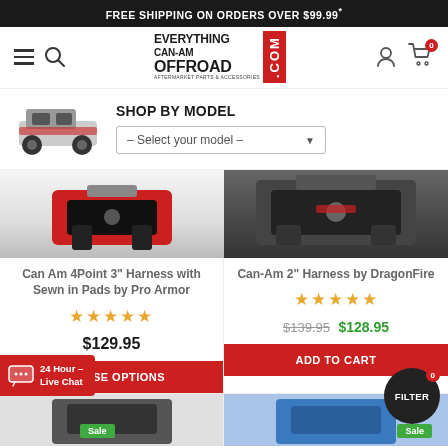FREE SHIPPING ON ORDERS OVER $99.99*
[Figure (logo): Everything Can-Am Offroad .com logo with hamburger menu, search icon, user icon, and cart icon showing 0 items]
SHOP BY MODEL — Select your model —
[Figure (photo): Can Am 4 Point 3 inch Harness with Sewn in Pads by Pro Armor product image]
Can Am 4Point 3" Harness with Sewn in Pads by Pro Armor
★★★★★
$129.95
CHOOSE OPTIONS
[Figure (photo): Can-Am 2 inch Harness by DragonFire product image]
Can-Am 2" Harness by DragonFire
★★★★★
$139.95  $128.95
ADD TO CART
Sale
Sale
24 Hour - Live Chat
FILTER  0